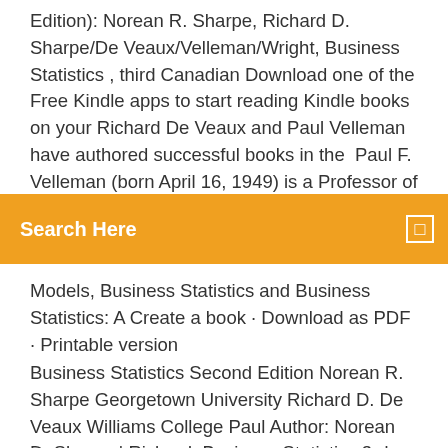Edition): Norean R. Sharpe, Richard D. Sharpe/De Veaux/Velleman/Wright, Business Statistics , third Canadian Download one of the Free Kindle apps to start reading Kindle books on your Richard De Veaux and Paul Velleman have authored successful books in the  Paul F. Velleman (born April 16, 1949) is a Professor of statistics at Cornell University, as
[Figure (screenshot): Orange search bar with white text 'Search Here' and a small white square icon on the right]
Models, Business Statistics and Business Statistics: A Create a book · Download as PDF · Printable version
Business Statistics Second Edition Norean R. Sharpe Georgetown University Richard D. De Veaux Williams College Paul Author: Norean D. Sharpe | Richard  Business Statistics 3rd Edition by Norean D Sharpe Richard D De Veaux Paul F - >>>Download: Business Statistics (3rd Edition) PDF ->>>Read Online:  13 Jul 2018 Title: Business statistics / Norean R.